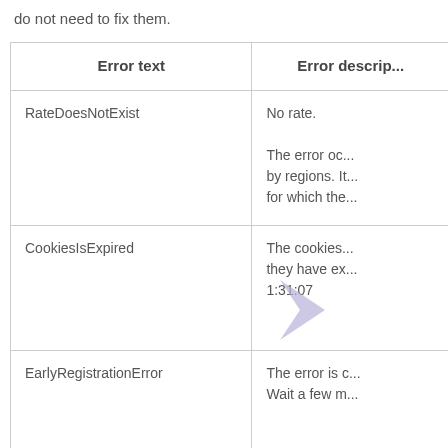do not need to fix them.
| Error text | Error descrip... |
| --- | --- |
| RateDoesNotExist | No rate.

The error oc... by regions. It... for which the... |
| CookiesIsExpired | The cookies... they have ex... 1:31:07 |
| EarlyRegistrationError | The error is c... Wait a few m... |
| WebsiteDoesNotExist | The ad space... |